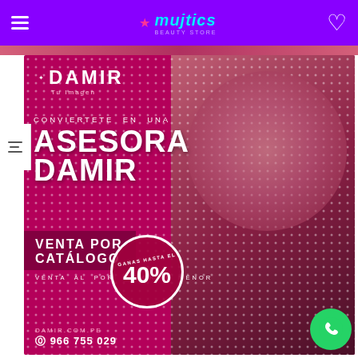Mujtics (logo) — navigation header with menu and heart icon
[Figure (advertisement): Damir brand advertisement. Dark pink/magenta background with dot pattern. Woman in blazer looking up. Text: CONVIERTETE EN UNA ASESORA DAMIR — VENTA POR CATÁLOGO — VENTA AL POR MAYOR Y MENOR — GANAS HASTA EL 40% — damir.com.pe — 966 755 029. Damir logo top left. WhatsApp button bottom right.]